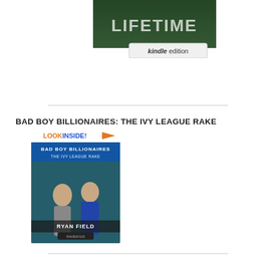[Figure (photo): Top portion of a book cover showing the word LIFETIME in large letters with a dark green background, with a Kindle edition badge at the bottom right]
[Figure (photo): Book cover for 'Bad Boy Billionaires: The Ivy League Rake' by Ryan Field, showing two men on the cover with a 'Look Inside!' badge, published by Ravenous]
BAD BOY BILLIONAIRES: THE IVY LEAGUE RAKE